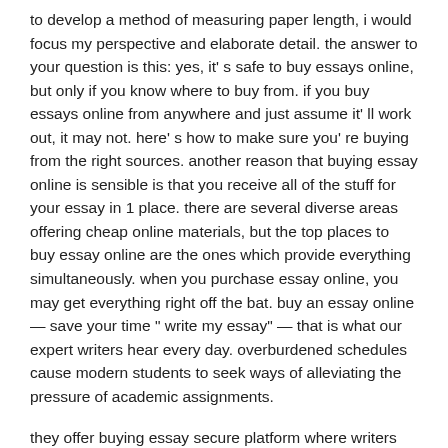to develop a method of measuring paper length, i would focus my perspective and elaborate detail. the answer to your question is this: yes, it' s safe to buy essays online, but only if you know where to buy from. if you buy essays online from anywhere and just assume it' ll work out, it may not. here' s how to make sure you' re buying from the right sources. another reason that buying essay online is sensible is that you receive all of the stuff for your essay in 1 place. there are several diverse areas offering cheap online materials, but the top places to buy essay online are the ones which provide everything simultaneously. when you purchase essay online, you may get everything right off the bat. buy an essay online — save your time " write my essay" — that is what our expert writers hear every day. overburdened schedules cause modern students to seek ways of alleviating the pressure of academic assignments.
they offer buying essay secure platform where writers and companies that are online may do business. you will hear most of the students say they are saving for a cheap essay